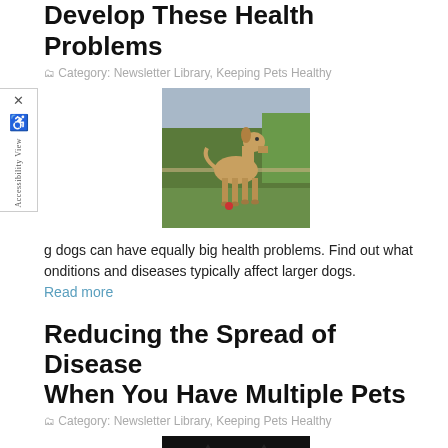Develop These Health Problems
Category: Newsletter Library, Keeping Pets Healthy
[Figure (photo): A large tan/fawn Great Dane dog standing on grass in an outdoor setting]
g dogs can have equally big health problems. Find out what onditions and diseases typically affect larger dogs.
Read more
Reducing the Spread of Disease When You Have Multiple Pets
Category: Newsletter Library, Keeping Pets Healthy
[Figure (photo): A dark photo of what appears to be a cat or pets in low lighting]